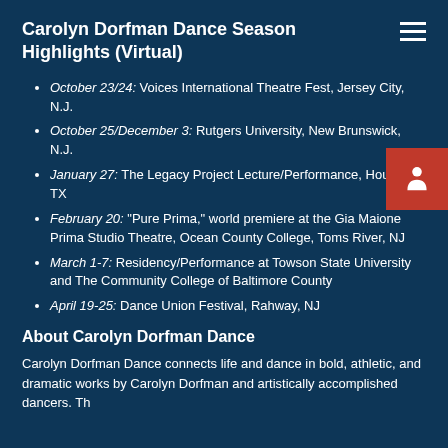Carolyn Dorfman Dance Season Highlights (Virtual)
October 23/24: Voices International Theatre Fest, Jersey City, N.J.
October 25/December 3: Rutgers University, New Brunswick, N.J.
January 27: The Legacy Project Lecture/Performance, Houston, TX
February 20: “Pure Prima,” world premiere at the Gia Maione Prima Studio Theatre, Ocean County College, Toms River, NJ
March 1-7: Residency/Performance at Towson State University and The Community College of Baltimore County
April 19-25: Dance Union Festival, Rahway, NJ
About Carolyn Dorfman Dance
Carolyn Dorfman Dance connects life and dance in bold, athletic, and dramatic works by Carolyn Dorfman and artistically accomplished dancers. Th...